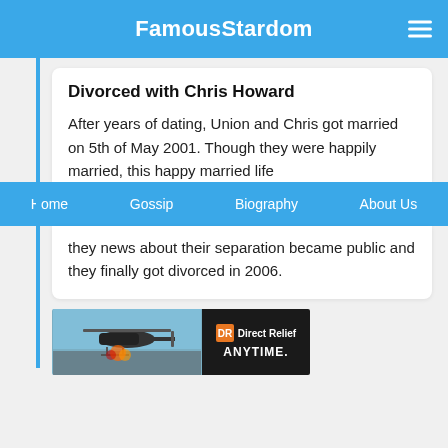FamousStardom
Divorced with Chris Howard
After years of dating, Union and Chris got married on 5th of May 2001. Though they were happily married, this happy married life
Home  Gossip  Biography  About Us
they news about their separation became public and they finally got divorced in 2006.
[Figure (photo): Advertisement banner showing a helicopter image on the left and Direct Relief ANYTIME. logo on the right on a dark background.]